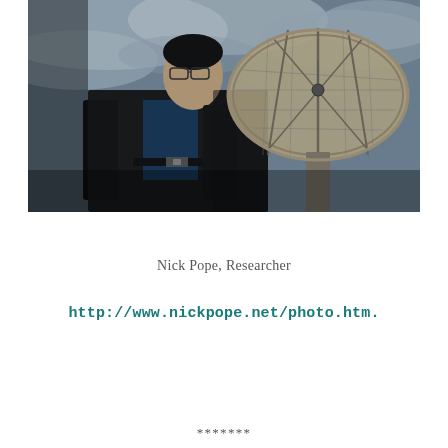[Figure (photo): A man in a dark blazer and blue shirt wearing glasses stands in front of a large radio telescope dish against a cloudy sky.]
Nick Pope, Researcher
http://www.nickpope.net/photo.htm.
*******